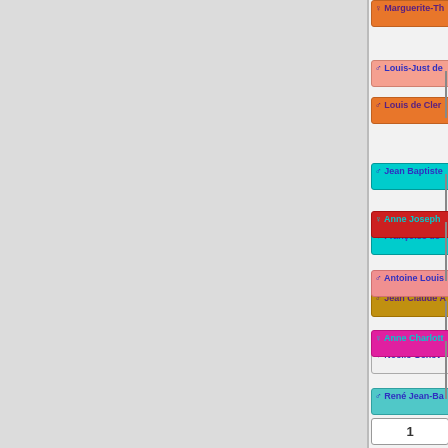[Figure (organizational-chart): Partial genealogy/family tree diagram showing ancestor nodes with colored boxes (orange, cyan, gold, salmon, magenta, teal) connected by lines. Names include Marguerite-Th, Louis-Just de, Louis de Cler, Jean Baptiste, Françoise de, Jean Claude A, Noëlle Genev, Jean François, Marie Henriett, Claude Adrien, Anne-Catherin, Elisa, Ger, Jean, Brig (top section); Anne Joseph, Antoine Louis, Anne Charlott, René Jean-Ba, Bruno de Bar, Marie Anne Au, Gab, Ann (bottom section). Pagination boxes 1 and 2 visible. Legend shows family names: Andlau, Barandier, Berg, Bourbon-Parme, Broglie, Bulkeley.]